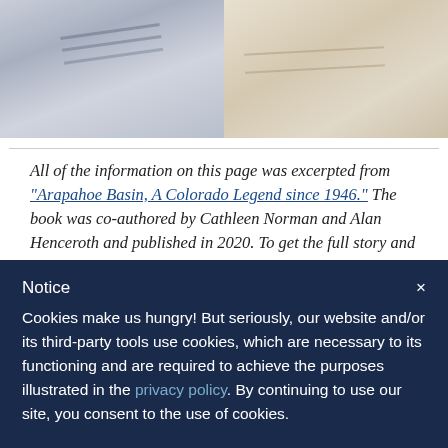[Figure (photo): Two side-by-side photos: left shows a snowy/icy slope with ski tracks in blue-gray tones; right shows a sandy/warm-toned slope]
All of the information on this page was excerpted from "Arapahoe Basin, A Colorado Legend since 1946." The book was co-authored by Cathleen Norman and Alan Henceroth and published in 2020. To get the full story and learn more about A-Basin's history, Colorado ski history, and the unique characters who have made this place tick over the decades, pick one up in our online store or buy in person the next time you come see us!
Notice
Cookies make us hungry! But seriously, our website and/or its third-party tools use cookies, which are necessary to its functioning and are required to achieve the purposes illustrated in the privacy policy. By continuing to use our site, you consent to the use of cookies.